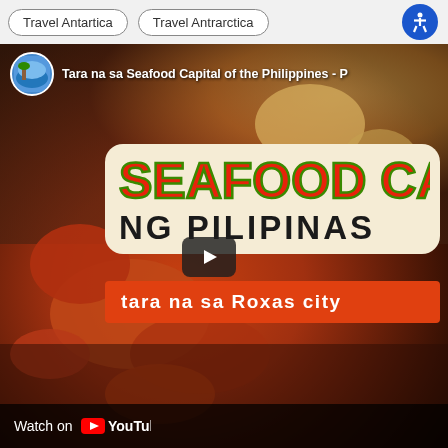Travel Antartica
Travel Antrarctica
[Figure (screenshot): YouTube video thumbnail showing seafood (lobster, crabs, shellfish) with overlay text 'SEAFOOD CAP... NG PILIPINAS' and 'tara na sa Roxas city'. Channel: Tara na sa Seafood Capital of the Philippines. Watch on YouTube bar at bottom.]